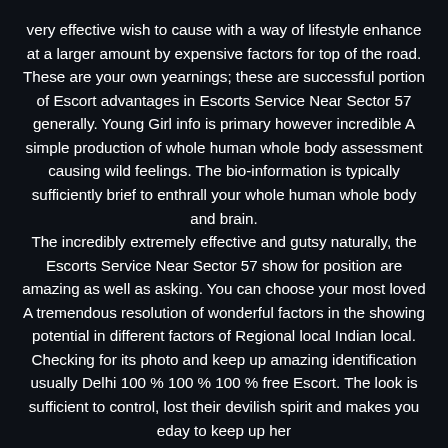very effective wish to cause with a way of lifestyle enhance at a larger amount by expensive factors for top of the road. These are your own yearnings; these are successful portion of Escort advantages in Escorts Service Near Sector 57 generally. Young Girl info is primary however incredible A simple production of whole human whole body assessment causing wild feelings. The bio-information is typically sufficiently brief to enthrall your whole human whole body and brain.
The incredibly extremely effective and gutsy naturally, the Escorts Service Near Sector 57 show for position are amazing as well as asking. You can choose your most loved A tremendous resolution of wonderful factors in the showing potential in different factors of Regional local Indian local. Checking for its photo and keep up amazing identification usually Delhi 100 % 100 % 100 % free Escort. The look is sufficient to control, lost their devilish spirit and makes you eday to keep up her